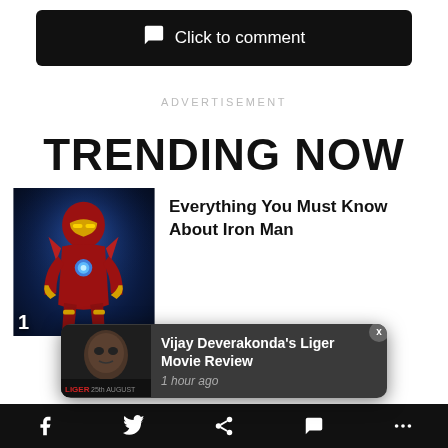[Figure (screenshot): Click to comment button - black rounded rectangle with chat bubble icon]
ADVERTISEMENT
TRENDING NOW
[Figure (photo): Iron Man character image with number 1 badge, thumbnail for article about Iron Man]
Everything You Must Know About Iron Man
[Figure (screenshot): Notification popup: Vijay Deverakonda's Liger Movie Review, 1 hour ago, with movie thumbnail and X close button]
Social share icons: Facebook, Twitter, share, comment, more